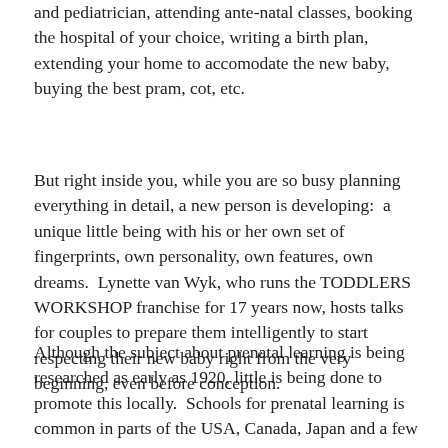and pediatrician, attending ante-natal classes, booking the hospital of your choice, writing a birth plan, extending your home to accomodate the new baby, buying the best pram, cot, etc.
But right inside you, while you are so busy planning everything in detail, a new person is developing:  a unique little being with his or her own set of fingerprints, own personality, own features, own dreams.  Lynette van Wyk, who runs the TODDLERS WORKSHOP franchise for 17 years now, hosts talks for couples to prepare them intelligently to start respecting their new baby right from the very beginning, even before conception.
Although the subject about prenatal learning is being researched as early as 1920, little is being done to promote this locally.  Schools for prenatal learning is common in parts of the USA, Canada, Japan and a few other countries.  Parents are being taught to bond through feelings, through music and through